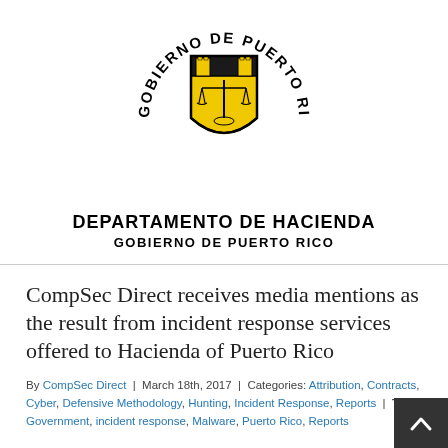[Figure (logo): Gobierno de Puerto Rico seal with yellow and black shield, scales of justice, and text 'GOBIERNO DE PUERTO RICO' arcing around the top]
DEPARTAMENTO DE HACIENDA
GOBIERNO DE PUERTO RICO
CompSec Direct receives media mentions as the result from incident response services offered to Hacienda of Puerto Rico
By CompSec Direct | March 18th, 2017 | Categories: Attribution, Contracts, Cyber, Defensive Methodology, Hunting, Incident Response, Reports | Tags: Government, incident response, Malware, Puerto Rico, Reports